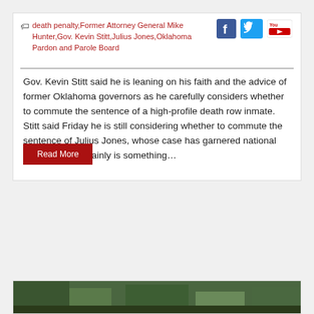death penalty, Former Attorney General Mike Hunter, Gov. Kevin Stitt, Julius Jones, Oklahoma Pardon and Parole Board
Gov. Kevin Stitt said he is leaning on his faith and the advice of former Oklahoma governors as he carefully considers whether to commute the sentence of a high-profile death row inmate. Stitt said Friday he is still considering whether to commute the sentence of Julius Jones, whose case has garnered national attention. “It certainly is something…
Read More
[Figure (photo): Partial view of a photo at the bottom of the page, showing trees or outdoor scene with dark green foliage.]